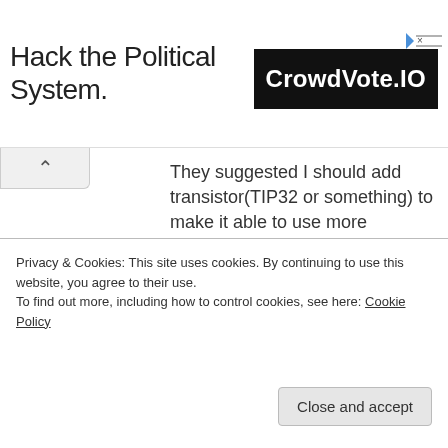[Figure (other): Advertisement banner: 'Hack the Political System.' text on the left, and a black box with 'CrowdVote.IO' logo on the right, with a small ad badge in the top-right corner.]
They suggested I should add transistor(TIP32 or something) to make it able to use more amperes because now only 0.2A: 555’s IC is the bottle neck.
Tuned same PWM:(It is an amateur drawing so be gentle judging it. My first pretty much. Don’t know if it even works but so far it looks at least somewhat like
Privacy & Cookies: This site uses cookies. By continuing to use this website, you agree to their use.
To find out more, including how to control cookies, see here: Cookie Policy
Close and accept